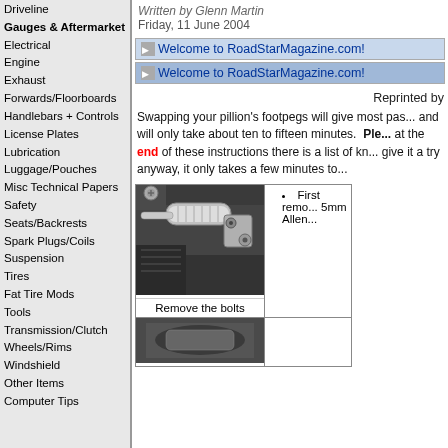Driveline
Gauges & Aftermarket
Electrical
Engine
Exhaust
Forwards/Floorboards
Handlebars + Controls
License Plates
Lubrication
Luggage/Pouches
Misc Technical Papers
Safety
Seats/Backrests
Spark Plugs/Coils
Suspension
Tires
Fat Tire Mods
Tools
Transmission/Clutch
Wheels/Rims
Windshield
Other Items
Computer Tips
Written by Glenn Martin
Friday, 11 June 2004
Welcome to RoadStarMagazine.com!
Welcome to RoadStarMagazine.com!
Reprinted by
Swapping your pillion's footpegs will give most pas... and will only take about ten to fifteen minutes. Please... at the end of these instructions there is a list of kn... give it a try anyway, it only takes a few minutes to...
Remove the bolts
First remove... 5mm Allen...
[Figure (photo): Close-up photograph of motorcycle footpeg bolts and bracket hardware]